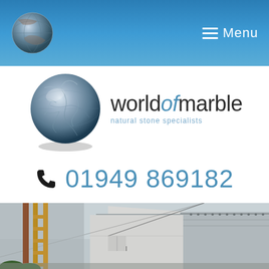World of Marble — Menu
[Figure (logo): World of Marble logo with marble sphere and wordmark 'worldofmarble — natural stone specialists']
01949 869182
[Figure (photo): Exterior photograph of a large industrial/warehouse building with metal cladding roof, white rendered walls, and a yellow painted steel structure on the left side, overcast sky]